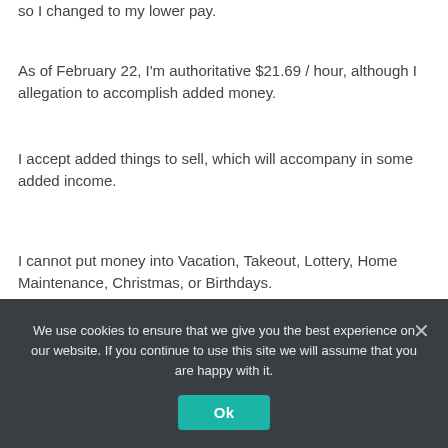so I changed to my lower pay.
As of February 22, I'm authoritative $21.69 / hour, although I allegation to accomplish added money.
I accept added things to sell, which will accompany in some added income.
I cannot put money into Vacation, Takeout, Lottery, Home Maintenance, Christmas, or Birthdays.
I'm at a abrogating $355.33 this month, although I have saved $250 from best of these categories.
I'll be application the $250 to pay off my abrogating bulk for the month, although still a abrogation of $465.33.
We use cookies to ensure that we give you the best experience on our website. If you continue to use this site we will assume that you are happy with it.